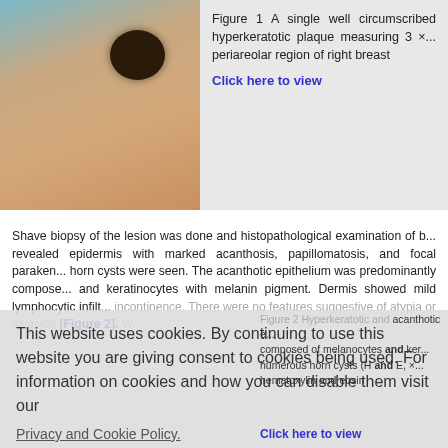[Figure (photo): Clinical photo of a dark hyperkeratotic lesion on the periareolar region of the right breast]
Figure 1 A single well circumscribed hyperkeratotic plaque measuring 3 × ... periareolar region of right breast
Click here to view
Shave biopsy of the lesion was done and histopathological examination of b... revealed epidermis with marked acanthosis, papillomatosis, and focal paraken... horn cysts were seen. The acanthotic epithelium was predominantly compose... and keratinocytes with melanin pigment. Dermis showed mild lymphocytic infilt... incontinence. There were no features suggestive of atypia or invasion [Figure 2]. W... melanoma. By continuing to ...
This website uses cookies. By continuing to use this website you are giving consent to cookies being used. For information on cookies and how you can disable them visit our
Privacy and Cookie Policy.
Figure 2 Hyperkeratotic and acanthotic e... composed of melanocytes and ker... humerous horn cysts (H and E, ×... hematoxylin and eosin
Click here to view
AGREE & PROCEED